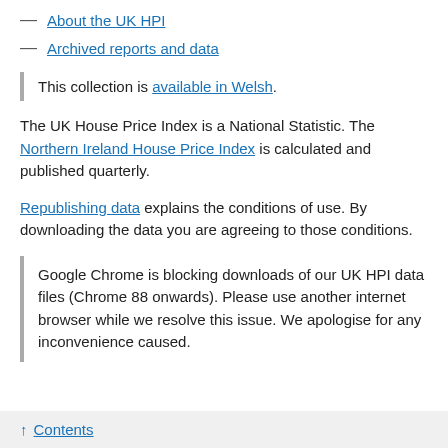— About the UK HPI
— Archived reports and data
This collection is available in Welsh.
The UK House Price Index is a National Statistic. The Northern Ireland House Price Index is calculated and published quarterly.
Republishing data explains the conditions of use. By downloading the data you are agreeing to those conditions.
Google Chrome is blocking downloads of our UK HPI data files (Chrome 88 onwards). Please use another internet browser while we resolve this issue. We apologise for any inconvenience caused.
↑ Contents